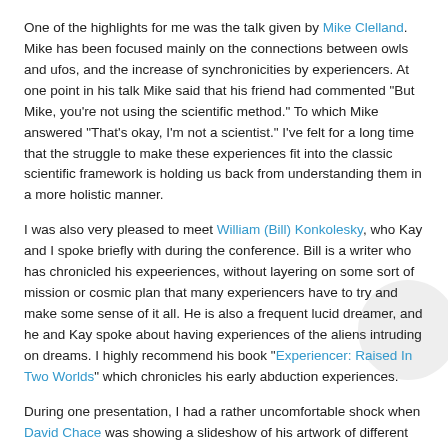One of the highlights for me was the talk given by Mike Clelland. Mike has been focused mainly on the connections between owls and ufos, and the increase of synchronicities by experiencers. At one point in his talk Mike said that his friend had commented "But Mike, you're not using the scientific method." To which Mike answered "That's okay, I'm not a scientist." I've felt for a long time that the struggle to make these experiences fit into the classic scientific framework is holding us back from understanding them in a more holistic manner.
I was also very pleased to meet William (Bill) Konkolesky, who Kay and I spoke briefly with during the conference. Bill is a writer who has chronicled his expeeriences, without layering on some sort of mission or cosmic plan that many experiencers have to try and make some sense of it all. He is also a frequent lucid dreamer, and he and Kay spoke about having experiences of the aliens intruding on dreams. I highly recommend his book "Experiencer: Raised In Two Worlds" which chronicles his early abduction experiences.
During one presentation, I had a rather uncomfortable shock when David Chace was showing a slideshow of his artwork of different kinds of beings. I recognized one of the aliens he described as "football headed"